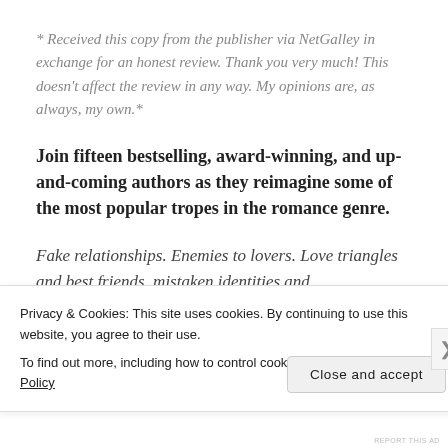* Received this copy from the publisher via NetGalley in exchange for an honest review. Thank you very much! This doesn't affect the review in any way. My opinions are, as always, my own.*
Join fifteen bestselling, award-winning, and up-and-coming authors as they reimagine some of the most popular tropes in the romance genre.
Fake relationships. Enemies to lovers. Love triangles and best friends. mistaken identities and
Privacy & Cookies: This site uses cookies. By continuing to use this website, you agree to their use. To find out more, including how to control cookies, see here: Cookie Policy
Close and accept